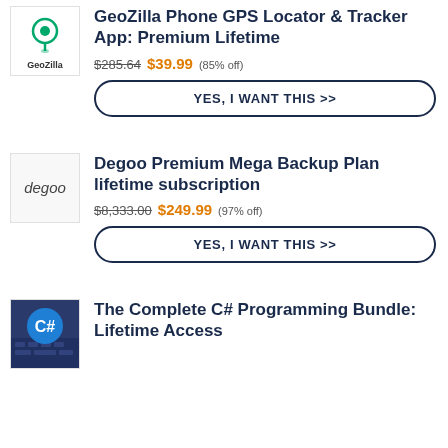[Figure (logo): GeoZilla logo with location pin icon and text 'GeoZilla']
GeoZilla Phone GPS Locator & Tracker App: Premium Lifetime
$285.64 $39.99 (85% off)
YES, I WANT THIS >>
[Figure (logo): Degoo logo with italic text 'degoo']
Degoo Premium Mega Backup Plan lifetime subscription
$8,333.00 $249.99 (97% off)
YES, I WANT THIS >>
[Figure (photo): C# programming image with blue circle C# logo over keyboard background]
The Complete C# Programming Bundle: Lifetime Access